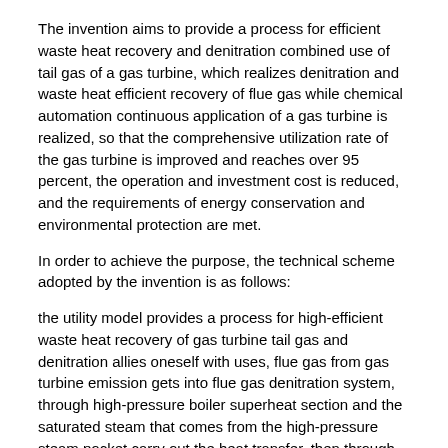The invention aims to provide a process for efficient waste heat recovery and denitration combined use of tail gas of a gas turbine, which realizes denitration and waste heat efficient recovery of flue gas while chemical automation continuous application of a gas turbine is realized, so that the comprehensive utilization rate of the gas turbine is improved and reaches over 95 percent, the operation and investment cost is reduced, and the requirements of energy conservation and environmental protection are met.
In order to achieve the purpose, the technical scheme adopted by the invention is as follows:
the utility model provides a process for high-efficient waste heat recovery of gas turbine tail gas and denitration allies oneself with uses, flue gas from gas turbine emission gets into flue gas denitration system, through high-pressure boiler superheat section and the saturated steam that comes from the high-pressure steam pocket carry out the heat transfer, then through high-pressure boiler evaporation zone and the high-pressure boiler water heat transfer that comes from the high-pressure steam